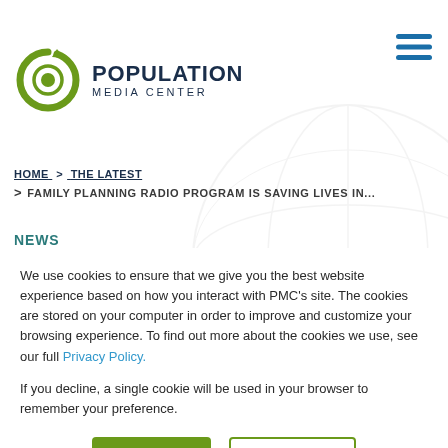[Figure (logo): Population Media Center logo with green circular arrow icon and dark navy text]
POPULATION MEDIA CENTER
HOME > THE LATEST > FAMILY PLANNING RADIO PROGRAM IS SAVING LIVES IN...
NEWS
We use cookies to ensure that we give you the best website experience based on how you interact with PMC’s site. The cookies are stored on your computer in order to improve and customize your browsing experience. To find out more about the cookies we use, see our full Privacy Policy.

If you decline, a single cookie will be used in your browser to remember your preference.